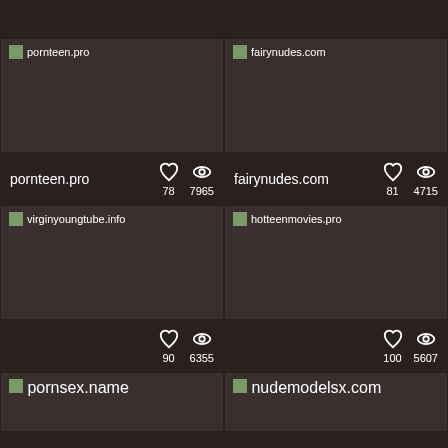[Figure (screenshot): pornteen.pro website thumbnail placeholder]
[Figure (screenshot): fairynudes.com website thumbnail placeholder]
pornteen.pro  ♡78  👁7965
fairynudes.com  ♡81  👁4715
[Figure (screenshot): virginyoungtube.info website thumbnail placeholder]
[Figure (screenshot): hotteenmovies.pro website thumbnail placeholder]
♡90  👁6355
♡100  👁5607
[Figure (screenshot): pornsex.name website thumbnail placeholder]
[Figure (screenshot): nudemodelsx.com website thumbnail placeholder]